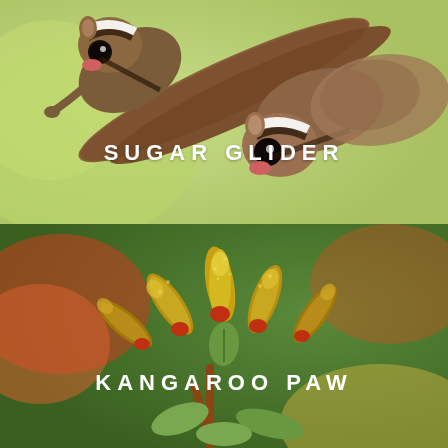[Figure (photo): Two sugar gliders with black and white facial stripes and large dark eyes, clinging to a brown branch against a blurred green background.]
SUGAR GLIDER
[Figure (photo): Close-up of kangaroo paw flowers (Anigozanthos), showing fuzzy yellow-green tubular blooms with red bases, surrounded by other flowers in a blurred colorful background.]
KANGAROO PAW